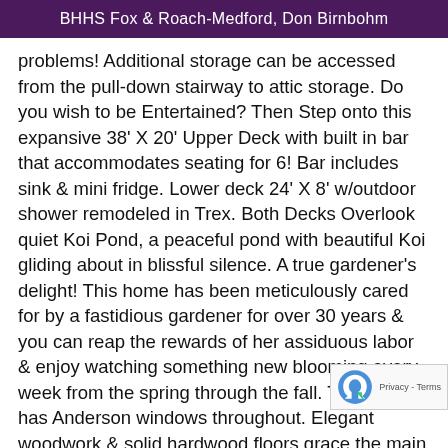BHHS Fox & Roach-Medford, Don Birnbohm
problems! Additional storage can be accessed from the pull-down stairway to attic storage. Do you wish to be Entertained? Then Step onto this expansive 38' X 20' Upper Deck with built in bar that accommodates seating for 6! Bar includes sink & mini fridge. Lower deck 24' X 8' w/outdoor shower remodeled in Trex. Both Decks Overlook quiet Koi Pond, a peaceful pond with beautiful Koi gliding about in blissful silence. A true gardener's delight! This home has been meticulously cared for by a fastidious gardener for over 30 years & you can reap the rewards of her assiduous labor & enjoy watching something new blooming every week from the spring through the fall. This home has Anderson windows throughout. Elegant woodwork & solid hardwood floors grace the main level. Decorative flair is evident in this inviting customized home. Live with Color and Charm! The Art of Living! This amazing stone Shore Stone manor